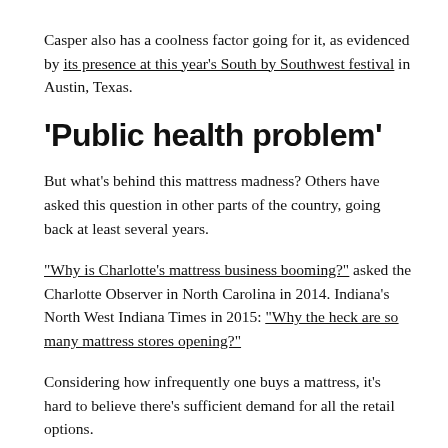Casper also has a coolness factor going for it, as evidenced by its presence at this year’s South by Southwest festival in Austin, Texas.
‘Public health problem’
But what’s behind this mattress madness? Others have asked this question in other parts of the country, going back at least several years.
“Why is Charlotte’s mattress business booming?” asked the Charlotte Observer in North Carolina in 2014. Indiana’s North West Indiana Times in 2015: “Why the heck are so many mattress stores opening?”
Considering how infrequently one buys a mattress, it’s hard to believe there’s sufficient demand for all the retail options.